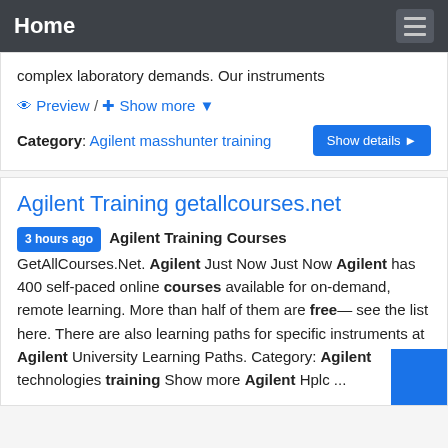Home
complex laboratory demands. Our instruments
Preview / + Show more
Category: Agilent masshunter training  Show details
Agilent Training getallcourses.net
3 hours ago  Agilent Training Courses GetAllCourses.Net. Agilent Just Now Just Now Agilent has 400 self-paced online courses available for on-demand, remote learning. More than half of them are free— see the list here. There are also learning paths for specific instruments at Agilent University Learning Paths. Category: Agilent technologies training Show more Agilent Hplc ...